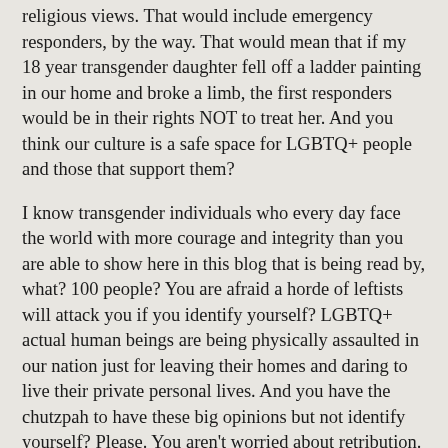religious views. That would include emergency responders, by the way. That would mean that if my 18 year transgender daughter fell off a ladder painting in our home and broke a limb, the first responders would be in their rights NOT to treat her. And you think our culture is a safe space for LGBTQ+ people and those that support them?
I know transgender individuals who every day face the world with more courage and integrity than you are able to show here in this blog that is being read by, what? 100 people? You are afraid a horde of leftists will attack you if you identify yourself? LGBTQ+ actual human beings are being physically assaulted in our nation just for leaving their homes and daring to live their private personal lives. And you have the chutzpah to have these big opinions but not identify yourself? Please. You aren't worried about retribution. You know your opinions